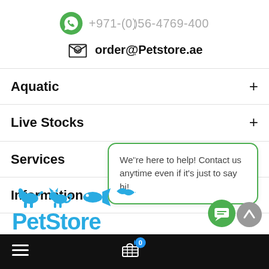+971-(0)56-4769-400
order@Petstore.ae
Aquatic
Live Stocks
Services
Information
We're here to help! Contact us anytime even if it's just to say hi!
[Figure (logo): PetStore logo with animal silhouettes (dog, cat, fish, bird) in blue above stylized 'PetStore' text]
Navigation bar with hamburger menu, cart with badge 0, and chat/scroll buttons